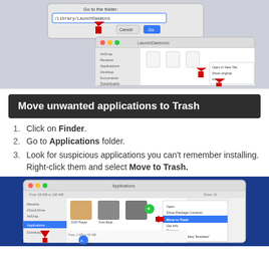[Figure (screenshot): macOS Finder window screenshot showing 'Go to the folder' dialog with /Library/LaunchDaemons entered, Cancel and Go buttons, and a Finder window open to LaunchDaemons folder with red arrows pointing to context menu options.]
Move unwanted applications to Trash
Click on Finder.
Go to Applications folder.
Look for suspicious applications you can't remember installing. Right-click them and select Move to Trash.
[Figure (screenshot): macOS Finder Applications folder screenshot showing a right-click context menu with 'Move to Trash' option highlighted in blue, with red arrows pointing to it.]